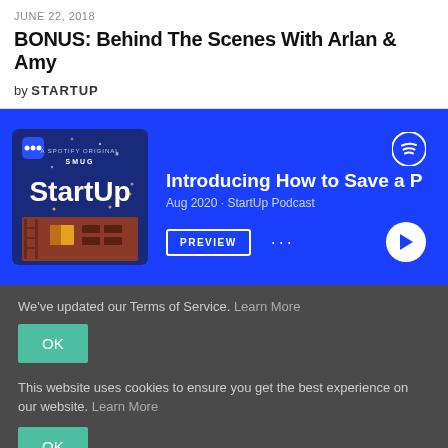JUNE 22, 2018
BONUS: Behind The Scenes With Arlan & Amy
by STARTUP
[Figure (screenshot): Spotify embed player showing StartUp Podcast episode 'Introducing How to Save a P', Aug 2020, with cover art, PREVIEW button, dots menu, and play button on blue background]
We've updated our Terms of Service. Learn More
OK
This website uses cookies to ensure you get the best experience on our website. Learn More
OK